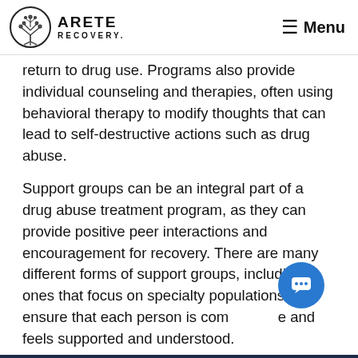ARETE RECOVERY — Menu
return to drug use. Programs also provide individual counseling and therapies, often using behavioral therapy to modify thoughts that can lead to self-destructive actions such as drug abuse.
Support groups can be an integral part of a drug abuse treatment program, as they can provide positive peer interactions and encouragement for recovery. There are many different forms of support groups, including ones that focus on specialty populations to ensure that each person is comfortable and feels supported and understood.
Tap to GET HELP NOW: (855) 921-2416
are more than 14,500 different and specialized